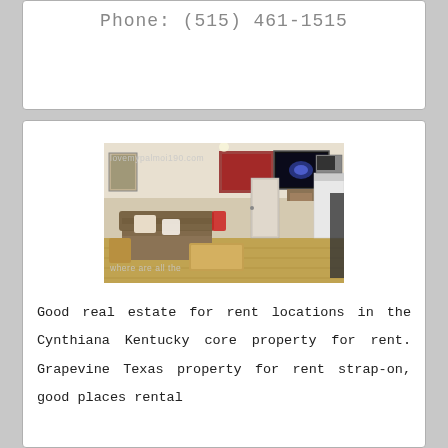Phone: (515) 461-1515
[Figure (photo): Interior photo of a living room/kitchen apartment space with a couch, TV, dresser, and kitchen counter visible. Watermark text 'lovemypalmoi190.com' at top and 'where are all the' at bottom.]
Good real estate for rent locations in the Cynthiana Kentucky core property for rent. Grapevine Texas property for rent strap-on, good places rental